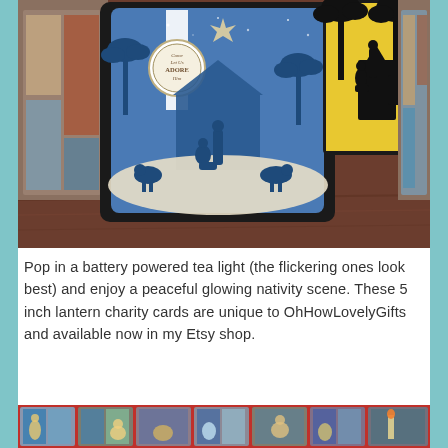[Figure (photo): Photo of handmade nativity scene lantern charity cards. The main card features a blue background with die-cut silhouettes of the nativity scene including Mary, Joseph, baby Jesus, and animals under a star. A circular badge reads 'Come Let Us Adore Him'. A second card in the upper right shows a yellow/gold backlit nativity silhouette with palm trees. In the background, stained glass art is partially visible.]
Pop in a battery powered tea light (the flickering ones look best) and enjoy a peaceful glowing nativity scene. These 5 inch lantern charity cards are unique to OhHowLovelyGifts and available now in my Etsy shop.
[Figure (photo): Partial photo showing a decorative ribbon or border with stained glass-style nativity scenes including figures, angels, and religious imagery on a red background.]